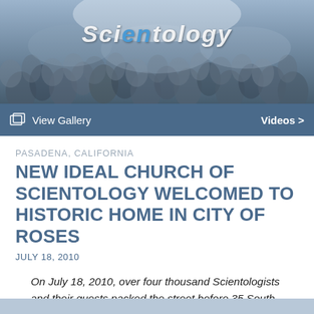[Figure (photo): Crowd of people packed together at an outdoor event, with a Scientology logo overlaid in white italic text in the upper center.]
View Gallery   Videos >
PASADENA, CALIFORNIA
NEW IDEAL CHURCH OF SCIENTOLOGY WELCOMED TO HISTORIC HOME IN CITY OF ROSES
JULY 18, 2010
On July 18, 2010, over four thousand Scientologists and their guests packed the street before 35 South Raymond Avenue in the heart of Pasadena's Old Town, for the grand opening of the new Church of Scientology in the City of Roses.